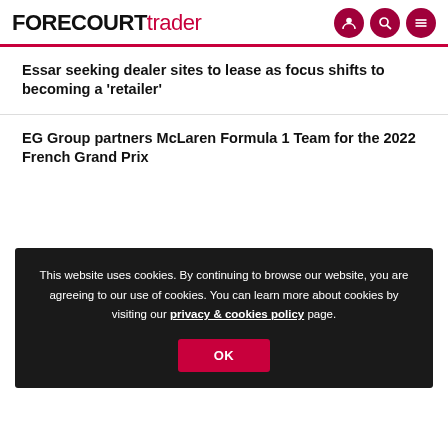FORECOURT trader
Essar seeking dealer sites to lease as focus shifts to becoming a 'retailer'
EG Group partners McLaren Formula 1 Team for the 2022 French Grand Prix
This website uses cookies. By continuing to browse our website, you are agreeing to our use of cookies. You can learn more about cookies by visiting our privacy & cookies policy page.